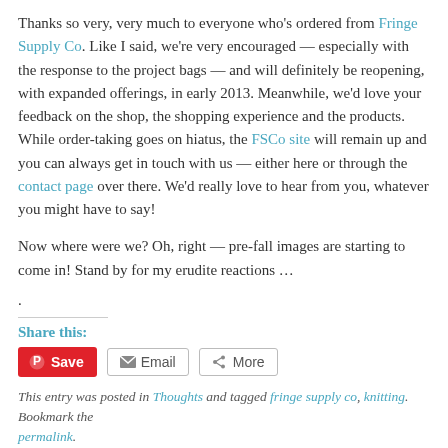Thanks so very, very much to everyone who's ordered from Fringe Supply Co. Like I said, we're very encouraged — especially with the response to the project bags — and will definitely be reopening, with expanded offerings, in early 2013. Meanwhile, we'd love your feedback on the shop, the shopping experience and the products. While order-taking goes on hiatus, the FSCo site will remain up and you can always get in touch with us — either here or through the contact page over there. We'd really love to hear from you, whatever you might have to say!
Now where were we? Oh, right — pre-fall images are starting to come in! Stand by for my erudite reactions …
.
Share this:
Save  Email  More
This entry was posted in Thoughts and tagged fringe supply co, knitting. Bookmark the permalink.